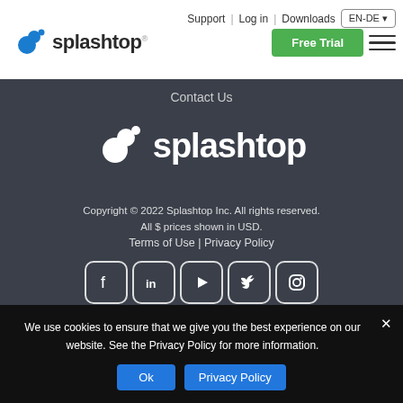Support | Log in | Downloads | EN-DE
[Figure (logo): Splashtop logo with blue splash icon and bold text 'splashtop' in header]
Free Trial
Contact Us
[Figure (logo): Splashtop logo in white on dark background with splash icon]
Copyright © 2022 Splashtop Inc. All rights reserved.
All $ prices shown in USD.
Terms of Use | Privacy Policy
[Figure (infographic): Social media icons: Facebook, LinkedIn, YouTube, Twitter, Instagram]
Splashtop on Social Media
We use cookies to ensure that we give you the best experience on our website. See the Privacy Policy for more information.
Ok  Privacy Policy